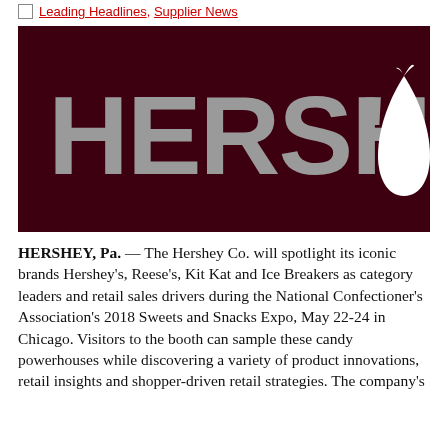Leading Headlines, Supplier News
[Figure (logo): Hershey Company logo — dark maroon background with large silver/grey HERSHEY'S text and a white Hershey's Kiss silhouette on the right]
HERSHEY, Pa. — The Hershey Co. will spotlight its iconic brands Hershey's, Reese's, Kit Kat and Ice Breakers as category leaders and retail sales drivers during the National Confectioner's Association's 2018 Sweets and Snacks Expo, May 22-24 in Chicago. Visitors to the booth can sample these candy powerhouses while discovering a variety of product innovations, retail insights and shopper-driven retail strategies. The company's